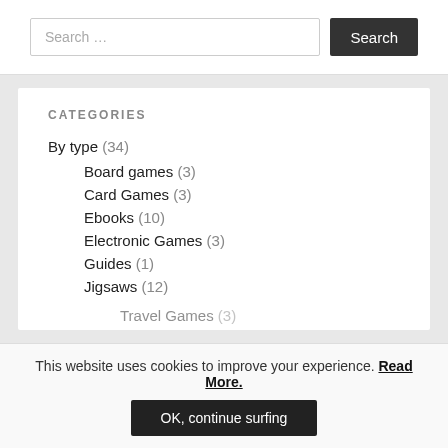Search ...
CATEGORIES
By type (34)
Board games (3)
Card Games (3)
Ebooks (10)
Electronic Games (3)
Guides (1)
Jigsaws (12)
This website uses cookies to improve your experience. Read More.
OK, continue surfing